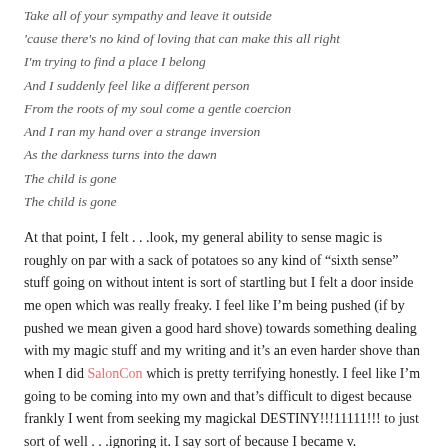Take all of your sympathy and leave it outside
'cause there's no kind of loving that can make this all right
I'm trying to find a place I belong
And I suddenly feel like a different person
From the roots of my soul come a gentle coercion
And I ran my hand over a strange inversion
As the darkness turns into the dawn
The child is gone
The child is gone
At that point, I felt . . .look, my general ability to sense magic is roughly on par with a sack of potatoes so any kind of “sixth sense” stuff going on without intent is sort of startling but I felt a door inside me open which was really freaky. I feel like I’m being pushed (if by pushed we mean given a good hard shove) towards something dealing with my magic stuff and my writing and it’s an even harder shove than when I did SalonCon which is pretty terrifying honestly. I feel like I’m going to be coming into my own and that’s difficult to digest because frankly I went from seeking my magickal DESTINY!!!11111!!! to just sort of well . . .ignoring it. I say sort of because I became v. comfortable with who I am and what I can do and I wasn’t looking to do more than that anymore. I’ve also toned a lot of aspects of myself